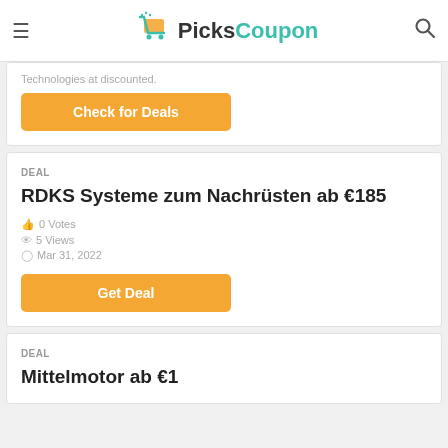PicksCoupon
Technologies at discounted.
Check for Deals
DEAL
RDKS Systeme zum Nachrüsten ab €185
0 Votes
5 Views
Mar 31, 2022
Get Deal
DEAL
Mittelmotor ab €1